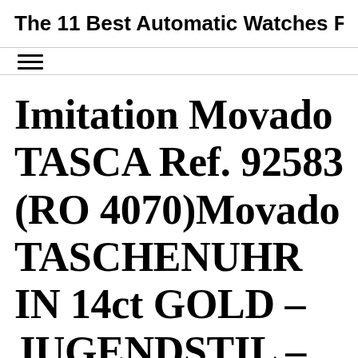The 11 Best Automatic Watches F…
Imitation Movado TASCA Ref. 92583 (RO 4070)Movado TASCHENUHR IN 14ct GOLD – JUGENDSTIL – UM 1905 MIT JUGENDSTIL-ZIFFERBLATT Bracelet…